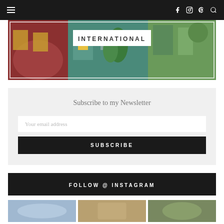Navigation bar with hamburger menu and social icons
[Figure (photo): Banner image of colorful street murals with INTERNATIONAL label overlay]
Subscribe to my Newsletter
Your email address
SUBSCRIBE
FOLLOW @ INSTAGRAM